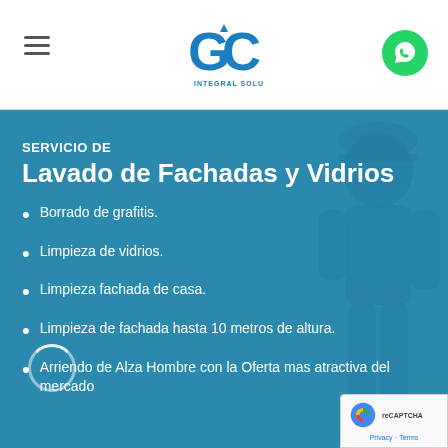GC Integral Solutions — navigation header with hamburger menu, logo, and WhatsApp button
[Figure (screenshot): Website screenshot of GC Integral Solutions service page for Lavado de Fachadas y Vidrios, with blue hero background and worker silhouette]
SERVICIO DE
Lavado de Fachadas y Vidrios
Borrado de grafitis.
Limpieza de vidrios.
Limpieza fachada de casa.
Limpieza de fachada hasta 10 metros de altura.
Arriendo de Alza Hombre con la Oferta mas atractiva del mercado